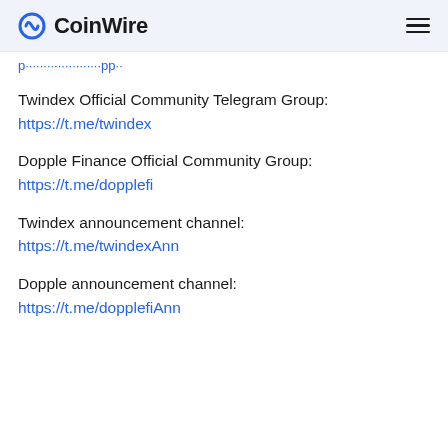CoinWire
https://t.me/...pp... (truncated link)
Twindex Official Community Telegram Group:
https://t.me/twindex
Dopple Finance Official Community Group:
https://t.me/dopplefi
Twindex announcement channel:
https://t.me/twindexAnn
Dopple announcement channel:
https://t.me/dopplefiAnn